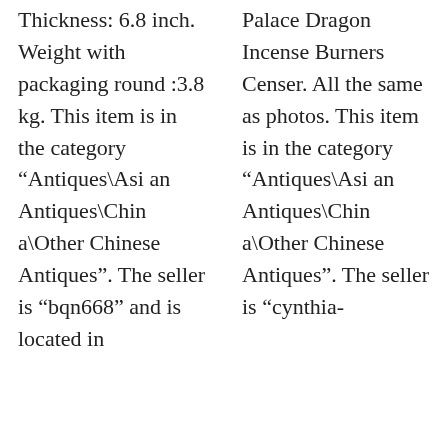Thickness: 6.8 inch. Weight with packaging round :3.8 kg. This item is in the category “Antiques\Asian Antiques\China\Other Chinese Antiques”. The seller is “bqn668” and is located in
Palace Dragon Incense Burners Censer. All the same as photos. This item is in the category “Antiques\Asian Antiques\China\Other Chinese Antiques”. The seller is “cynthia-